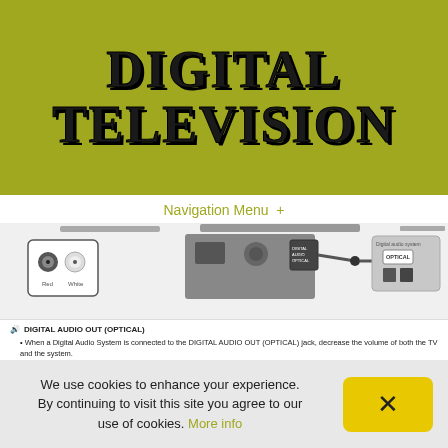DIGITAL TELEVISION
Navigation Menu +
[Figure (schematic): Diagram showing a TV connection with Digital Audio Out (Optical) jack connected to a digital audio system via optical cable, with RCA connectors shown on the left side.]
DIGITAL AUDIO OUT (OPTICAL)
When a Digital Audio System is connected to the DIGITAL AUDIO OUT (OPTICAL) jack, decrease the volume of both the TV and the system.
5.1 CH (channel) audio is available when the TV is connected to an external device supporting 5.1 CH.
When the receiver (home theater) is set to on, you can hear sound output from the TV's optical jack. When the
We use cookies to enhance your experience. By continuing to visit this site you agree to our use of cookies. More info